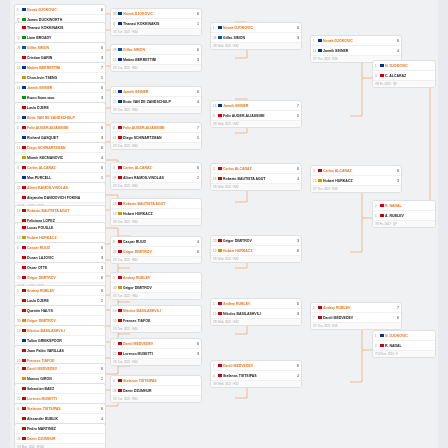[Figure (other): Tennis tournament bracket showing multiple rounds from first round through finals. The bracket shows player matchups with seeds, country flags, player names, scores, and match dates. Orange/salmon colored connector lines link match boxes across rounds from left (Round 1) to right (Finals). Multiple sections of the draw are visible showing progression from approximately 64 players down to a final.]